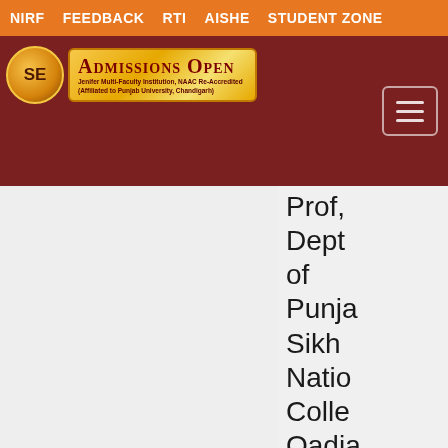NIRF  FEEDBACK  RTI  AISHE  STUDENT ZONE
[Figure (logo): Admissions Open banner with college logo circle and golden badge on dark red header bar with hamburger menu button]
Prof, Dept of Punjab Sikh Natio Colle Qadia share their critic insigh with the